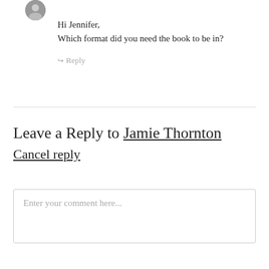[Figure (photo): Small circular avatar thumbnail of a person]
Hi Jennifer,
Which format did you need the book to be in?
↪ Reply
Leave a Reply to Jamie Thornton Cancel reply
Enter your comment here...